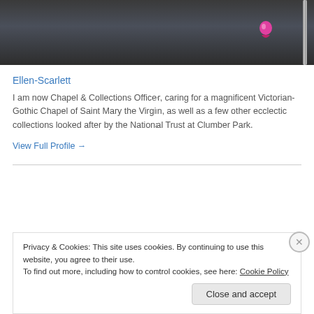[Figure (photo): Cropped photo showing a person wearing a dark blue/grey jacket with a pink logo, and a zipper visible on the right side, against a dark background.]
Ellen-Scarlett
I am now Chapel & Collections Officer, caring for a magnificent Victorian-Gothic Chapel of Saint Mary the Virgin, as well as a few other ecclectic collections looked after by the National Trust at Clumber Park.
View Full Profile →
Privacy & Cookies: This site uses cookies. By continuing to use this website, you agree to their use.
To find out more, including how to control cookies, see here: Cookie Policy
Close and accept